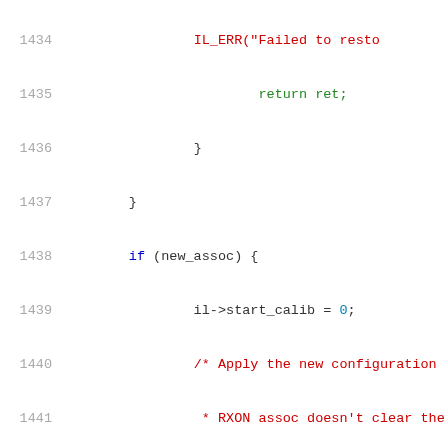[Figure (screenshot): Source code listing showing C code lines 1434-1455 with syntax highlighting. Line numbers in grey, keywords in blue, strings in red, comments in dark red/maroon, numeric literals in teal, return statements in green.]